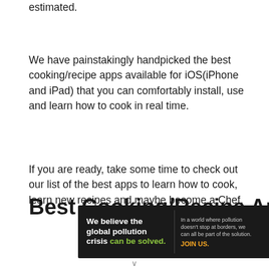estimated.
We have painstakingly handpicked the best cooking/recipe apps available for iOS(iPhone and iPad) that you can comfortably install, use and learn how to cook in real time.
If you are ready, take some time to check out our list of the best apps to learn how to cook, learn new recipes and maybe become a Chef.
Best Cooking/Recipe Apps
[Figure (other): Pure Earth advertisement banner: 'We believe the global pollution crisis can be solved. In a world where pollution doesn't stop at borders, we can all be part of the solution. JOIN US.' with Pure Earth logo.]